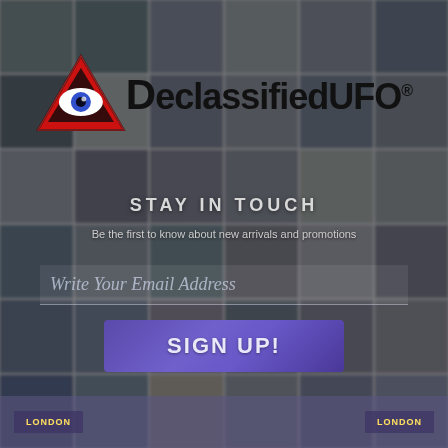[Figure (screenshot): Background collage of blurred UFO-related video thumbnails arranged in a grid]
[Figure (logo): DeclassifiedUFO logo: triangular eye icon in red/black with 'DeclassifiedUFO' text in bold black font with registered trademark symbol]
STAY IN TOUCH
Be the first to know about new arrivals and promotions
Write Your Email Address
SIGN UP!
footer bar with navigation buttons